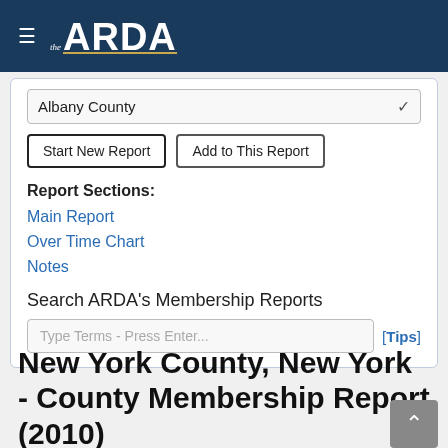the ARDA
Albany County
Start New Report | Add to This Report
Report Sections:
Main Report
Over Time Chart
Notes
Search ARDA's Membership Reports
Type Terms - Press Enter... [Tips]
New York County, New York - County Membership Report (2010)